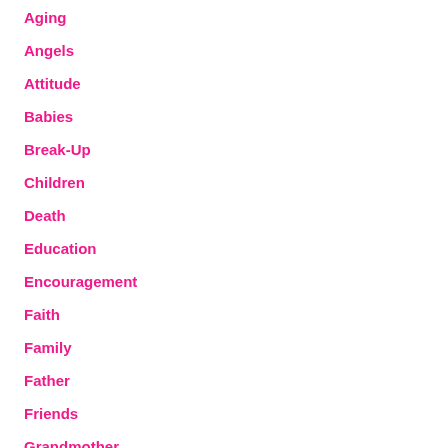Aging
Angels
Attitude
Babies
Break-Up
Children
Death
Education
Encouragement
Faith
Family
Father
Friends
Grandmother